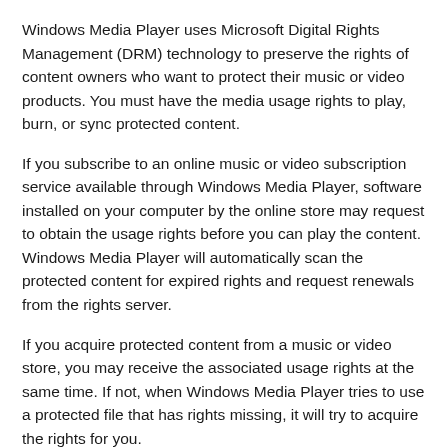Windows Media Player uses Microsoft Digital Rights Management (DRM) technology to preserve the rights of content owners who want to protect their music or video products. You must have the media usage rights to play, burn, or sync protected content.
If you subscribe to an online music or video subscription service available through Windows Media Player, software installed on your computer by the online store may request to obtain the usage rights before you can play the content. Windows Media Player will automatically scan the protected content for expired rights and request renewals from the rights server.
If you acquire protected content from a music or video store, you may receive the associated usage rights at the same time. If not, when Windows Media Player tries to use a protected file that has rights missing, it will try to acquire the rights for you.